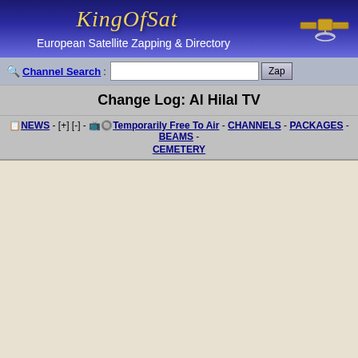[Figure (logo): KingOfSat logo with satellite graphic on dark blue/purple gradient background]
European Satellite Zapping & Directory
Channel Search: [input] Zap
Change Log: Al Hilal TV
NEWS - [+] [-] - Temporarily Free To Air - CHANNELS - PACKAGES - BEAMS - CEMETERY